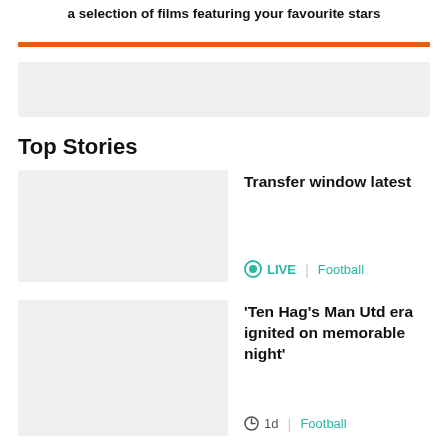a selection of films featuring your favourite stars
[Figure (other): Orange horizontal divider bar]
[Figure (other): Advertisement placeholder box (grey)]
Top Stories
Transfer window latest
LIVE | Football
'Ten Hag's Man Utd era ignited on memorable night'
1d | Football